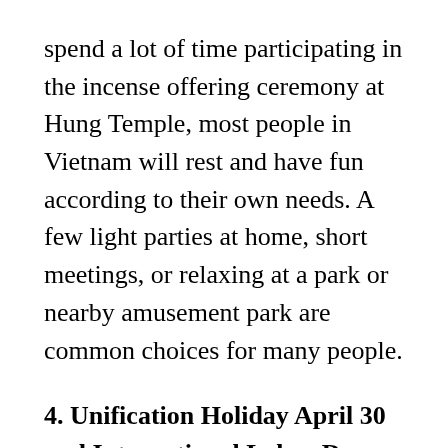spend a lot of time participating in the incense offering ceremony at Hung Temple, most people in Vietnam will rest and have fun according to their own needs. A few light parties at home, short meetings, or relaxing at a park or nearby amusement park are common choices for many people.
4. Unification Holiday April 30 and International Labor Day 1/5
The national occasion to celebrate the victory day 30/4 is held quite solemnly every year in Vietnam. This is a great victory holiday to commemorate the